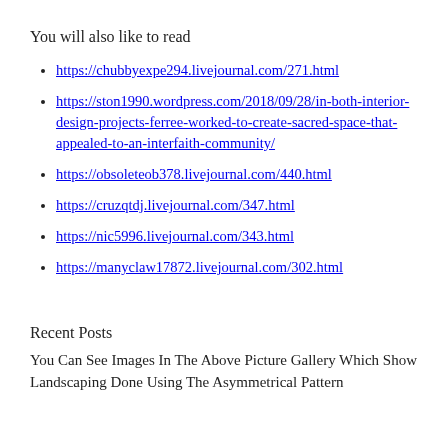You will also like to read
https://chubbyexpe294.livejournal.com/271.html
https://ston1990.wordpress.com/2018/09/28/in-both-interior-design-projects-ferree-worked-to-create-sacred-space-that-appealed-to-an-interfaith-community/
https://obsoleteob378.livejournal.com/440.html
https://cruzqtdj.livejournal.com/347.html
https://nic5996.livejournal.com/343.html
https://manyclaw17872.livejournal.com/302.html
Recent Posts
You Can See Images In The Above Picture Gallery Which Show Landscaping Done Using The Asymmetrical Pattern